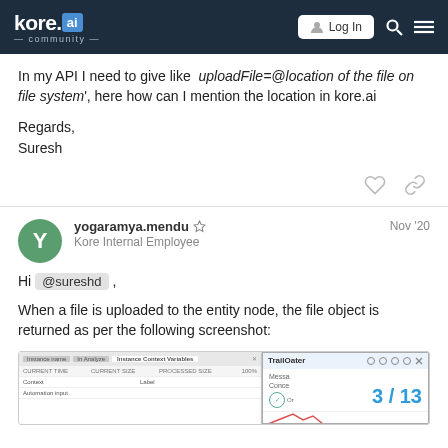kore.ai community — Log In
In my API I need to give like uploadFile=@location of the file on file system', here how can I mention the location in kore.ai
Regards,
Suresh
yogaramya.mendu  Kore Internal Employee  Nov '20
Hi @sureshd ,
When a file is uploaded to the entity node, the file object is returned as per the following screenshot:
[Figure (screenshot): Screenshot of kore.ai bot builder interface showing Instance Context Variables panel and a TrailOater dialog overlay with page number 3/13]
3 / 13